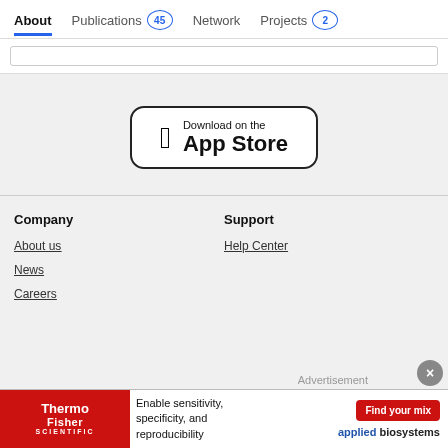About | Publications 45 | Network | Projects 2
[Figure (screenshot): App Store download button with Apple logo]
Company
Support
About us
Help Center
News
Careers
Advertisement
[Figure (infographic): ThermoFisher Scientific advertisement banner: Enable sensitivity, specificity, and reproducibility. Find your mix. Applied Biosystems.]